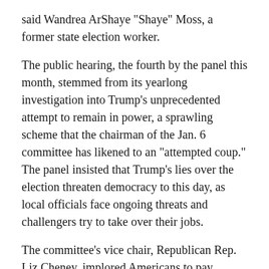said Wandrea ArShaye "Shaye" Moss, a former state election worker.
The public hearing, the fourth by the panel this month, stemmed from its yearlong investigation into Trump's unprecedented attempt to remain in power, a sprawling scheme that the chairman of the Jan. 6 committee has likened to an "attempted coup." The panel insisted that Trump's lies over the election threaten democracy to this day, as local officials face ongoing threats and challengers try to take over their jobs.
The committee's vice chair, Republican Rep. Liz Cheney, implored Americans to pay attention to the evidence being presented, declaring, "Donald Trump didn't care about the threats of violence. He did not condemn